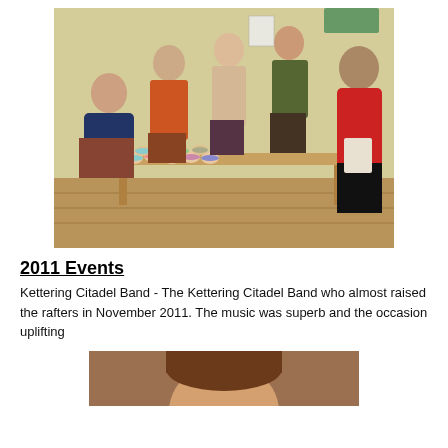[Figure (photo): Group of people at an indoor market stall with many jars of jam/preserves on a table. Several people stand behind and around the table; one person in a red jacket stands to the right. The setting appears to be a community hall with yellow walls.]
2011 Events
Kettering Citadel Band - The Kettering Citadel Band who almost raised the rafters in November 2011. The music was superb and the occasion uplifting
[Figure (photo): Partial view of a person's face/head, cropped at bottom of page.]